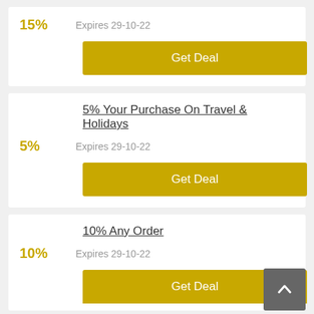15%
Expires 29-10-22
Get Deal
5% Your Purchase On Travel & Holidays
5%
Expires 29-10-22
Get Deal
10% Any Order
10%
Expires 29-10-22
Get Deal